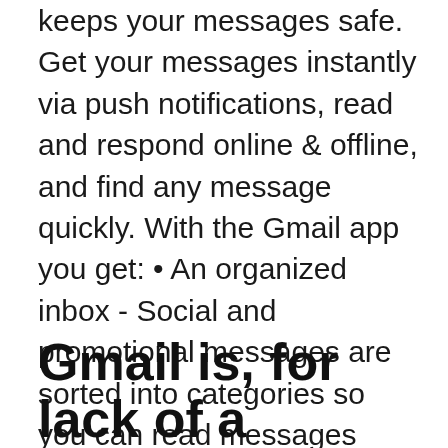keeps your messages safe. Get your messages instantly via push notifications, read and respond online & offline, and find any message quickly. With the Gmail app you get: • An organized inbox - Social and promotional messages are sorted into categories so you can read messages from friends and family first. • Less spam - Gmail May 26, 2016 · Gmail is undoubtedly the king of email clients with over 900 million users accessing this service, as of May 2015. Given the number of Google services like Docs, Drive, Android, Hangouts, and many more are synced through your Gmail ID, it makes sense that Gmail is solely dominating the Email client industry.
Gmail is, for lack of a